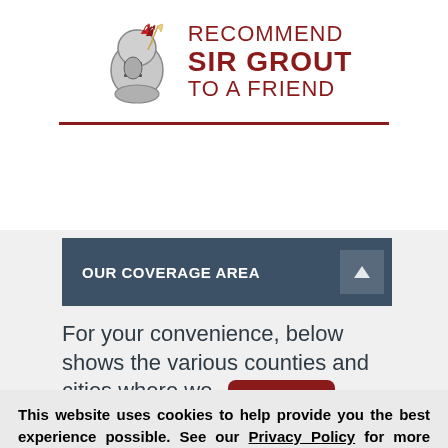[Figure (illustration): Knight mascot illustration with quill pen, beside text RECOMMEND SIR GROUT TO A FRIEND in dark red]
OUR COVERAGE AREA
For your convenience, below shows the various counties and cities where we
[Figure (screenshot): Red popup button with text 'Request a Free' and a white X close button]
This website uses cookies to help provide you the best experience possible. See our Privacy Policy for more information. By continuing without changing your cookie settings within your browser, you are agreeing to our use of cookies.
ACCEPT